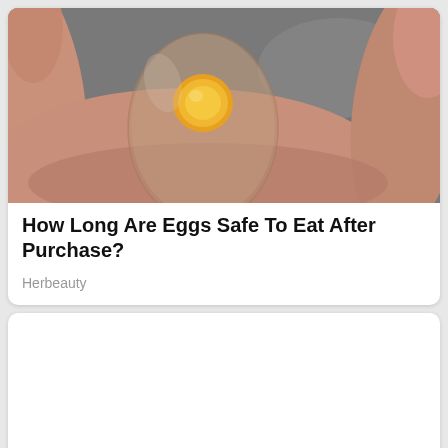[Figure (photo): A hand holding a translucent egg without a shell, showing the yolk visible through the membrane, placed against a gray surface background.]
How Long Are Eggs Safe To Eat After Purchase?
Herbeauty
[Figure (photo): A blank white card area below the first article card.]